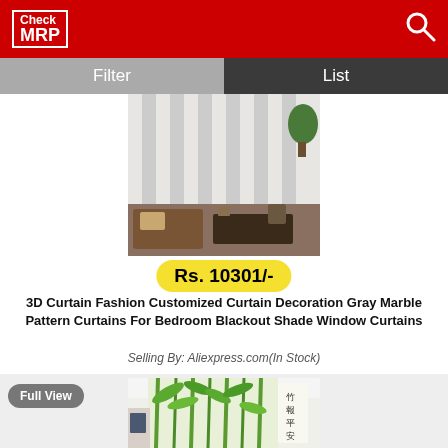Check MRP
[Figure (screenshot): Gray marble pattern curtains in a bedroom setting, showing vertical striped curtains with furniture below]
Rs. 10301/-
3D Curtain Fashion Customized Curtain Decoration Gray Marble Pattern Curtains For Bedroom Blackout Shade Window Curtains
Selling By: Aliexpress.com(In Stock)
[Figure (screenshot): Green bamboo pattern curtains in a living room setting with Chinese calligraphy characters on the right side]